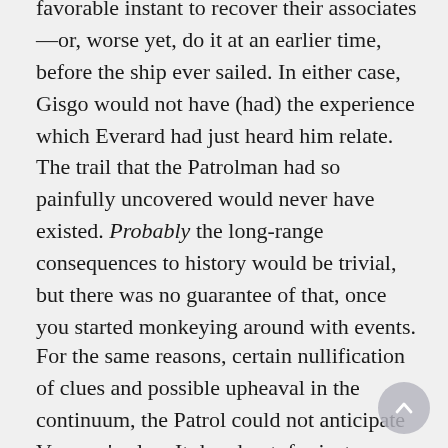favorable instant to recover their associates—or, worse yet, do it at an earlier time, before the ship ever sailed. In either case, Gisgo would not have (had) the experience which Everard had just heard him relate. The trail that the Patrolman had so painfully uncovered would never have existed. Probably the long-range consequences to history would be trivial, but there was no guarantee of that, once you started monkeying around with events.
For the same reasons, certain nullification of clues and possible upheaval in the continuum, the Patrol could not anticipate Varagan's plan. It dared not, for instance, swoop down on the ship and arrest the